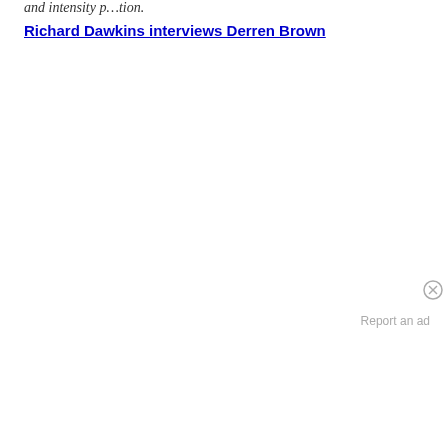and intensity p...tion.
Richard Dawkins interviews Derren Brown
Report an ad